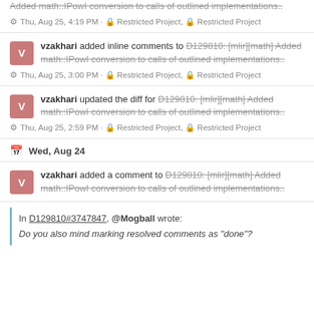Added math::IPowI conversion to calls of outlined implementations..
Thu, Aug 25, 4:19 PM · Restricted Project, Restricted Project
vzakhari added inline comments to D129810: [mlir][math] Added math::IPowI conversion to calls of outlined implementations..
Thu, Aug 25, 3:00 PM · Restricted Project, Restricted Project
vzakhari updated the diff for D129810: [mlir][math] Added math::IPowI conversion to calls of outlined implementations..
Thu, Aug 25, 2:59 PM · Restricted Project, Restricted Project
Wed, Aug 24
vzakhari added a comment to D129810: [mlir][math] Added math::IPowI conversion to calls of outlined implementations..
In D129810#3747847, @Mogball wrote:
Do you also mind marking resolved comments as "done"?